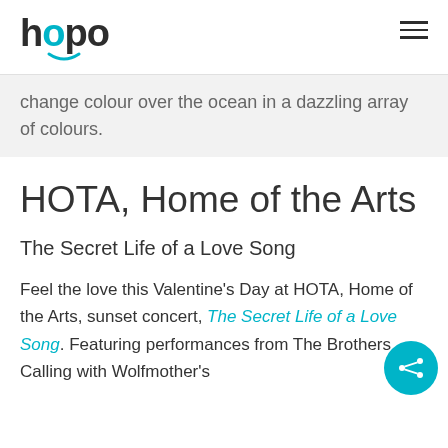hopo
change colour over the ocean in a dazzling array of colours.
HOTA, Home of the Arts
The Secret Life of a Love Song
Feel the love this Valentine's Day at HOTA, Home of the Arts, sunset concert, The Secret Life of a Love Song. Featuring performances from The Brothers Calling with Wolfmother's